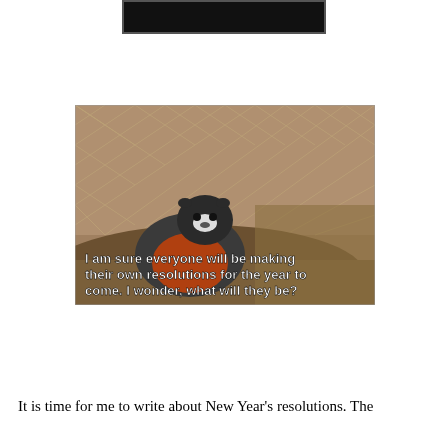[Figure (photo): A black rectangle/image at the top center of the page, partially cropped]
[Figure (photo): A marmot or groundhog sitting on a dirt mound in front of a chain-link fence with dry grass. Overlaid white text reads: 'I am sure everyone will be making their own resolutions for the year to come.   I wonder, what will they be?']
It is time for me to write about New Year's resolutions. The